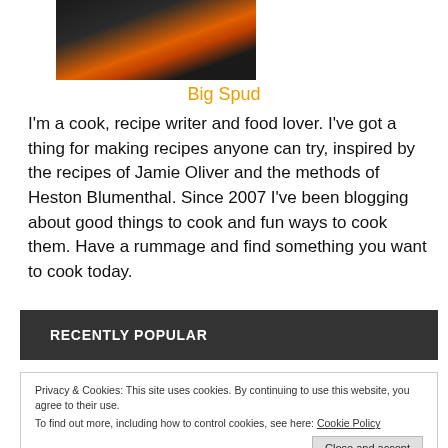[Figure (photo): Partial photo of a person cooking, cropped at top of page]
Big Spud
I'm a cook, recipe writer and food lover. I've got a thing for making recipes anyone can try, inspired by the recipes of Jamie Oliver and the methods of Heston Blumenthal. Since 2007 I've been blogging about good things to cook and fun ways to cook them. Have a rummage and find something you want to cook today.
RECENTLY POPULAR
Privacy & Cookies: This site uses cookies. By continuing to use this website, you agree to their use.
To find out more, including how to control cookies, see here: Cookie Policy
heston blumenthal's triple cooked chips